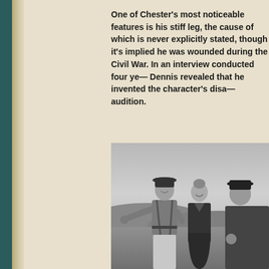One of Chester's most noticeable features is his stiff leg, the cause of which is never explicitly stated, though it's implied he was wounded during the Civil War. In an interview conducted four years after the show, Dennis revealed that he invented the character's disability during his audition.
[Figure (photo): Black and white photograph of three people outdoors with hills in background. A young man in cowboy hat, western shirt and suspenders stands on the left gesturing with his arm extended. A smiling woman in dark dress stands in the middle. Another person in a dark hat is partially visible on the right.]